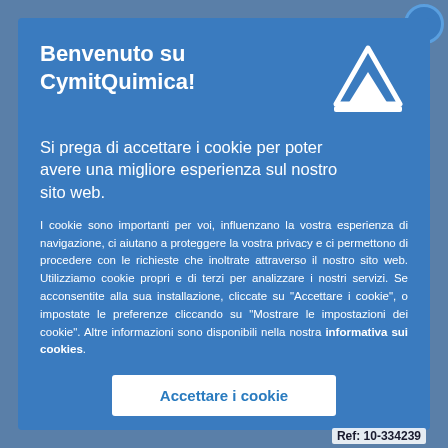Benvenuto su CymitQuimica!
Si prega di accettare i cookie per poter avere una migliore esperienza sul nostro sito web.
I cookie sono importanti per voi, influenzano la vostra esperienza di navigazione, ci aiutano a proteggere la vostra privacy e ci permettono di procedere con le richieste che inoltrate attraverso il nostro sito web. Utilizziamo cookie propri e di terzi per analizzare i nostri servizi. Se acconsentite alla sua installazione, cliccate su "Accettare i cookie", o impostate le preferenze cliccando su "Mostrare le impostazioni dei cookie". Altre informazioni sono disponibili nella nostra informativa sui cookies.
Accettare i cookie
Ref: 10-334239